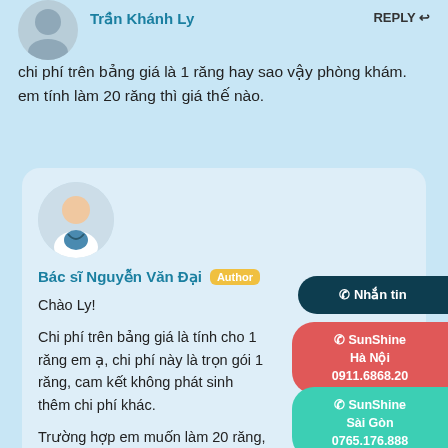[Figure (photo): User avatar silhouette at top left]
Trần Khánh Ly
REPLY ↩
chi phí trên bảng giá là 1 răng hay sao vậy phòng khám. em tính làm 20 răng thì giá thế nào.
[Figure (photo): Doctor avatar photo of Bác sĩ Nguyễn Văn Đại in white coat]
Bác sĩ Nguyễn Văn Đại  Author
Chào Ly!

Chi phí trên bảng giá là tính cho 1 răng em ạ, chi phí này là trọn gói 1 răng, cam kết không phát sinh thêm chi phí khác.

Trường hợp em muốn làm 20 răng, thì em chọn loại răng mình mong muốn và lấy 20 nhân với số tiền
✆ Nhắn tin
✆ SunShine Hà Nội
0911.6868.20
✆ SunShine Sài Gòn
0765.176.888